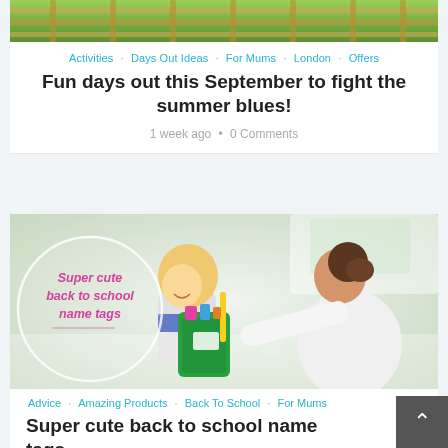[Figure (photo): Partial top image showing green roller coaster or play equipment rails]
Activities · Days Out Ideas · For Mums · London · Offers
Fun days out this September to fight the summer blues!
1 week ago • 0 Comments
[Figure (photo): Photo of a young blond child and an adult woman. The child holds a green backpack. A white circle overlay contains the text: Super cute back to school name tags]
Advice · Amazing Products · Back To School · For Mums
Super cute back to school name tags